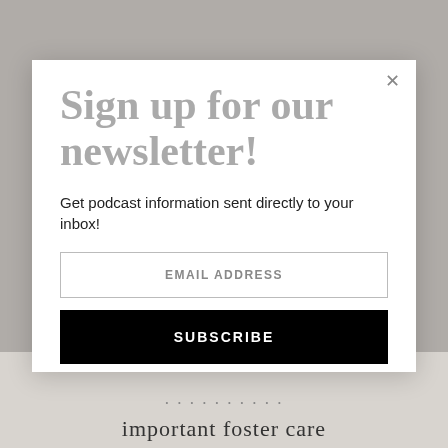Sign up for our newsletter!
Get podcast information sent directly to your inbox!
EMAIL ADDRESS
SUBSCRIBE
important foster care